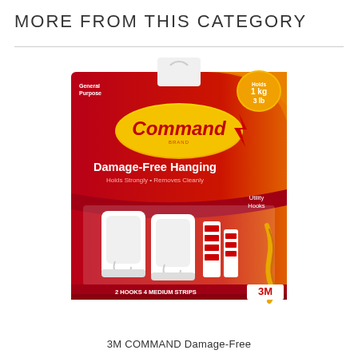MORE FROM THIS CATEGORY
[Figure (photo): 3M Command Damage-Free Hanging Utility Hooks product package showing 2 white hooks and 4 medium strips on a red and gold gradient card packaging with Command brand logo and 3M logo. Text on package: General Purpose, Holds 1kg 3lb, Damage-Free Hanging, Holds Strongly • Removes Cleanly, Utility Hooks, 2 HOOKS 4 MEDIUM STRIPS]
3M COMMAND Damage-Free